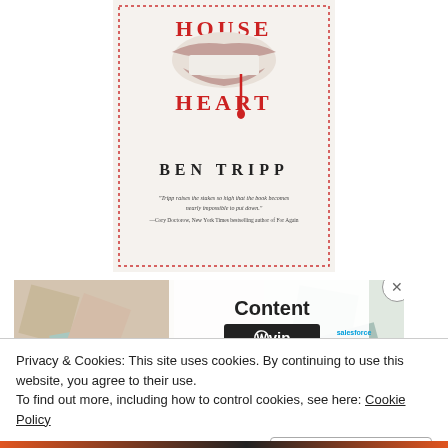[Figure (illustration): Book cover of 'House of the Heart' by Ben Tripp showing lips/mouth imagery in red and white with a blood drip, decorative border, and a quote from Cory Doctorow]
[Figure (screenshot): WordPress VIP 'Content' advertisement banner showing WP VIP logo, 'Learn more' arrow link, and logos of companies including Merck and Salesforce on a colorful tiled background]
Privacy & Cookies: This site uses cookies. By continuing to use this website, you agree to their use.
To find out more, including how to control cookies, see here: Cookie Policy
Close and accept